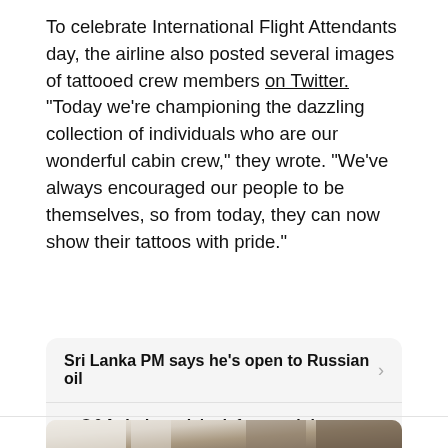To celebrate International Flight Attendants day, the airline also posted several images of tattooed crew members on Twitter. "Today we're championing the dazzling collection of individuals who are our wonderful cabin crew," they wrote. "We've always encouraged our people to be themselves, so from today, they can now show their tattoos with pride."
Sri Lanka PM says he's open to Russian oil
Q&A: Indonesia's defence minister on security in t...
[Figure (photo): Partial photo visible at bottom of page, appears to show an interior room with curtains and plants, light and neutral tones.]